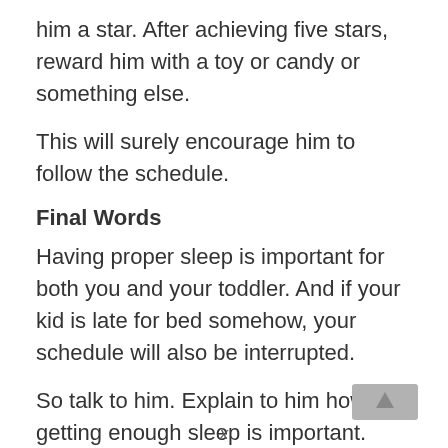him a star. After achieving five stars, reward him with a toy or candy or something else.
This will surely encourage him to follow the schedule.
Final Words
Having proper sleep is important for both you and your toddler. And if your kid is late for bed somehow, your schedule will also be interrupted.
So talk to him. Explain to him how getting enough sleep is important.
[Figure (other): A grey navigation button with an upward arrow icon in the bottom right corner of the page.]